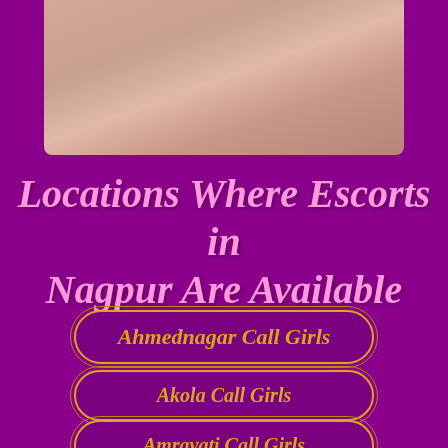[Figure (photo): Partial photo of a person, cropped showing midsection, against a light background]
Locations Where Escorts in Nagpur Are Available
Ahmednagar Call Girls
Akola Call Girls
Amravati Call Girls